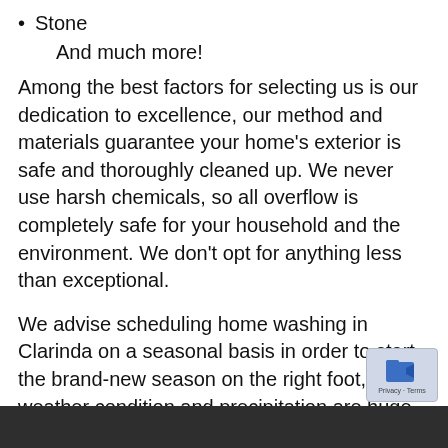Stone
And much more!
Among the best factors for selecting us is our dedication to excellence, our method and materials guarantee your home's exterior is safe and thoroughly cleaned up. We never use harsh chemicals, so all overflow is completely safe for your household and the environment. We don't opt for anything less than exceptional.
We advise scheduling home washing in Clarinda on a seasonal basis in order to start the brand-new season on the right foot, weather condition and precipitation are huge factors that can affect your home's exterior, so continuing top of things with regular washings is an excellent idea.
[Figure (other): Dark textured background bar at bottom of page]
[Figure (other): reCAPTCHA badge with arrow icon and Privacy/Terms text]